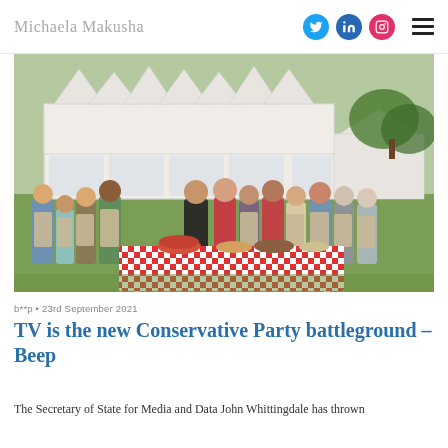Michaela Makusha
[Figure (photo): Group photo of Great British Bake Off contestants and judges standing outdoors on a lawn in front of a large white marquee tent, gathered around a table with a red and white checkered tablecloth covered with various baked goods and cakes.]
b**p • 23rd September 2021
TV is the new Conservative Party battleground – Beep
The Secretary of State for Media and Data John Whittingdale has thrown